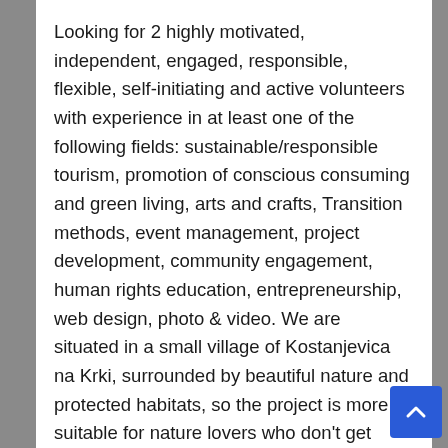Looking for 2 highly motivated, independent, engaged, responsible, flexible, self-initiating and active volunteers with experience in at least one of the following fields: sustainable/responsible tourism, promotion of conscious consuming and green living, arts and crafts, Transition methods, event management, project development, community engagement, human rights education, entrepreneurship, web design, photo & video. We are situated in a small village of Kostanjevica na Krki, surrounded by beautiful nature and protected habitats, so the project is more suitable for nature lovers who don't get easily bored and have a motivation to co-develop the place as a sustainable tourist destination. If you enjoy